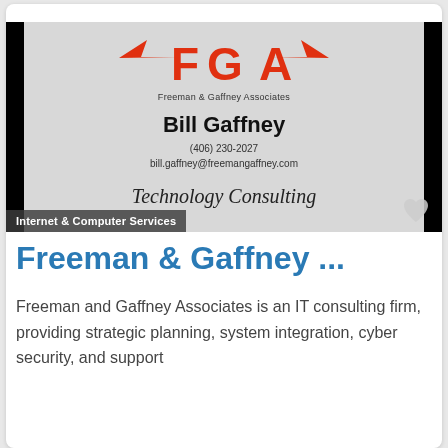[Figure (photo): Business card for Freeman & Gaffney Associates showing FGA logo in red, Bill Gaffney's name, phone (406) 230-2027, email bill.gaffney@freemangaffney.com, and Technology Consulting text. Overlay label reads 'Internet & Computer Services'.]
Freeman & Gaffney ...
Freeman and Gaffney Associates is an IT consulting firm, providing strategic planning, system integration, cyber security, and support